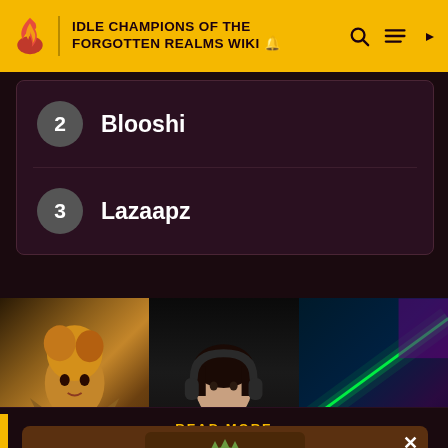IDLE CHAMPIONS OF THE FORGOTTEN REALMS WIKI
2 Blooshi
3 Lazaapz
[Figure (screenshot): Three images side by side: fantasy female character artwork, person wearing gaming headset in dark room, green laser/neon gaming peripheral]
[Figure (screenshot): Advertisement overlay showing a green cartoon creature/figure on brown background with X close button]
READ MORE